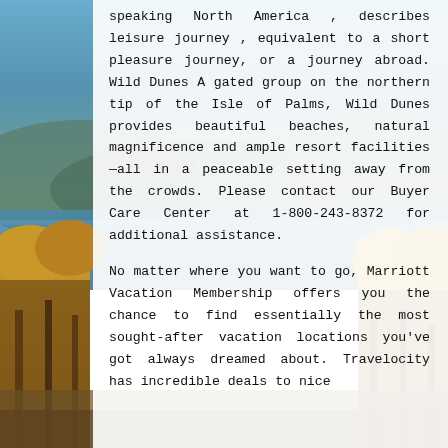[Figure (photo): Landscape background photograph showing a scenic view with water, autumn-colored trees (orange and yellow foliage), mountains, and a blue sky. The image is partially obscured by a white semi-transparent text overlay panel on the right side.]
speaking North America , describes leisure journey , equivalent to a short pleasure journey, or a journey abroad. Wild Dunes A gated group on the northern tip of the Isle of Palms, Wild Dunes provides beautiful beaches, natural magnificence and ample resort facilities—all in a peaceable setting away from the crowds. Please contact our Buyer Care Center at 1-800-243-8372 for additional assistance.

No matter where you want to go, Marriott Vacation Membership offers you the chance to find essentially the most sought-after vacation locations you've got always dreamed about. Travelocity has incredible deals to nice